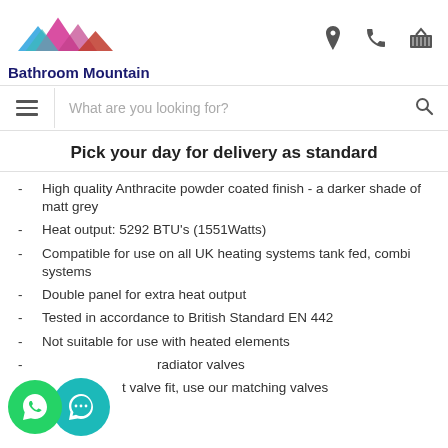[Figure (logo): Bathroom Mountain logo with colorful mountain peaks (pink, blue, teal, red) and bold navy text 'Bathroom Mountain']
[Figure (infographic): Header icons: location pin, phone, shopping basket]
[Figure (screenshot): Search bar with hamburger menu icon and search (magnifier) icon, placeholder text 'What are you looking for?']
Pick your day for delivery as standard
High quality Anthracite powder coated finish - a darker shade of matt grey
Heat output: 5292 BTU's (1551Watts)
Compatible for use on all UK heating systems tank fed, combi systems
Double panel for extra heat output
Tested in accordance to British Standard EN 442
Not suitable for use with heated elements
radiator valves
t valve fit, use our matching valves